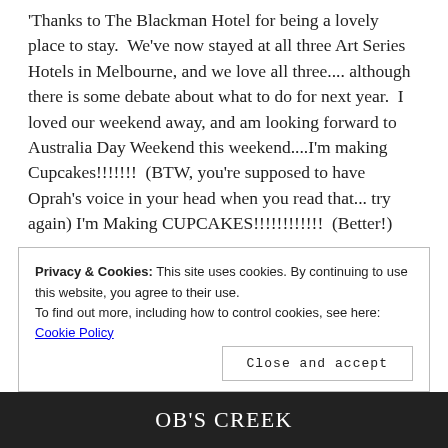'Thanks to The Blackman Hotel for being a lovely place to stay.  We've now stayed at all three Art Series Hotels in Melbourne, and we love all three.... although there is some debate about what to do for next year.  I loved our weekend away, and am looking forward to Australia Day Weekend this weekend....I'm making Cupcakes!!!!!!!  (BTW, you're supposed to have Oprah's voice in your head when you read that... try again) I'm Making CUPCAKES!!!!!!!!!!!!  (Better!)
Privacy & Cookies: This site uses cookies. By continuing to use this website, you agree to their use.
To find out more, including how to control cookies, see here: Cookie Policy
Close and accept
[Figure (photo): Bottom portion of an image showing text 'OB'S CREEK' in white on a dark background with a red circular logo/sign on the right]